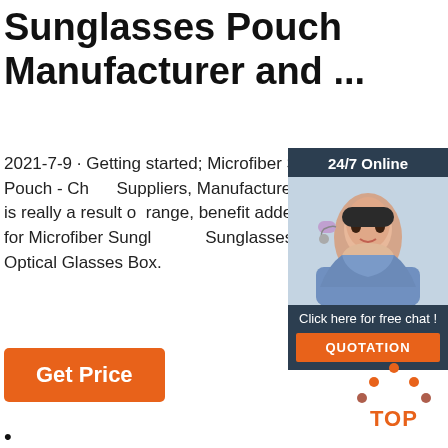Sunglasses Pouch Manufacturer and ...
2021-7-9 · Getting started; Microfiber Sunglasses Pouch; Microfiber Sunglasses Pouch - China Suppliers, Manufacturers. We believe that time period partnership is really a result of range, benefit added provider, prosperous and personal contact for Microfiber Sunglasses, Sunglasses Packaging Case, Eyeglasses Case,Zipper Optical Glasses Box.
[Figure (illustration): 24/7 Online chat widget with a woman wearing a headset, dark background, with Click here for free chat text and a QUOTATION button]
[Figure (illustration): Orange and dark red TOP icon with dots forming an upward triangle above the word TOP]
•